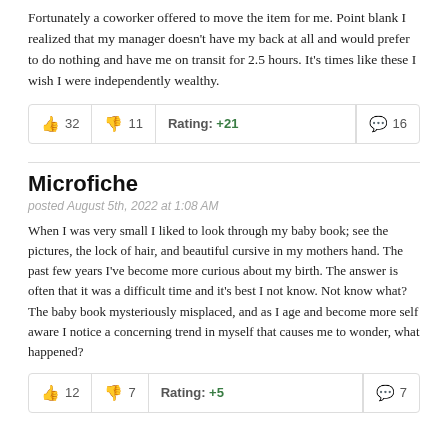Fortunately a coworker offered to move the item for me. Point blank I realized that my manager doesn't have my back at all and would prefer to do nothing and have me on transit for 2.5 hours. It's times like these I wish I were independently wealthy.
| 👍 32 | 👎 11 | Rating: +21 | 💬 16 |
| --- | --- | --- | --- |
Microfiche
posted August 5th, 2022 at 1:08 AM
When I was very small I liked to look through my baby book; see the pictures, the lock of hair, and beautiful cursive in my mothers hand. The past few years I've become more curious about my birth. The answer is often that it was a difficult time and it's best I not know. Not know what? The baby book mysteriously misplaced, and as I age and become more self aware I notice a concerning trend in myself that causes me to wonder, what happened?
| 👍 12 | 👎 7 | Rating: +5 | 💬 7 |
| --- | --- | --- | --- |